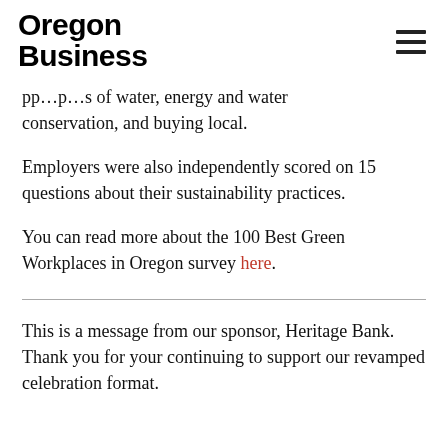Oregon Business
…p…p…s of water, energy and water conservation, and buying local.
Employers were also independently scored on 15 questions about their sustainability practices.
You can read more about the 100 Best Green Workplaces in Oregon survey here.
This is a message from our sponsor, Heritage Bank. Thank you for your continuing to support our revamped celebration format.